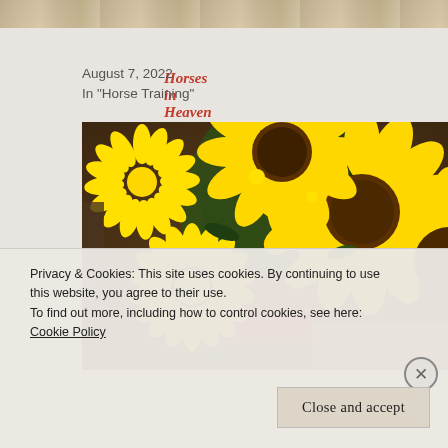[Figure (photo): Partial top strip of a sandy/earthy scene, cropped at top of page]
Horses in Heaven
August 7, 2022
In "Horse Training"
[Figure (photo): Close-up photo of yellow chrysanthemums and sunflowers in a red container, with books visible in the background]
Privacy & Cookies: This site uses cookies. By continuing to use this website, you agree to their use.
To find out more, including how to control cookies, see here:
Cookie Policy
Close and accept